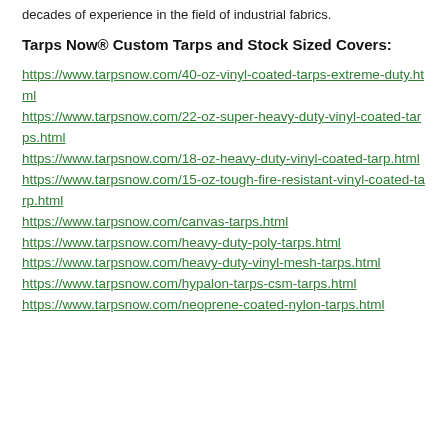decades of experience in the field of industrial fabrics.
Tarps Now® Custom Tarps and Stock Sized Covers:
https://www.tarpsnow.com/40-oz-vinyl-coated-tarps-extreme-duty.html
https://www.tarpsnow.com/22-oz-super-heavy-duty-vinyl-coated-tarps.html
https://www.tarpsnow.com/18-oz-heavy-duty-vinyl-coated-tarp.html
https://www.tarpsnow.com/15-oz-tough-fire-resistant-vinyl-coated-tarp.html
https://www.tarpsnow.com/canvas-tarps.html
https://www.tarpsnow.com/heavy-duty-poly-tarps.html
https://www.tarpsnow.com/heavy-duty-vinyl-mesh-tarps.html
https://www.tarpsnow.com/hypalon-tarps-csm-tarps.html
https://www.tarpsnow.com/neoprene-coated-nylon-tarps.html